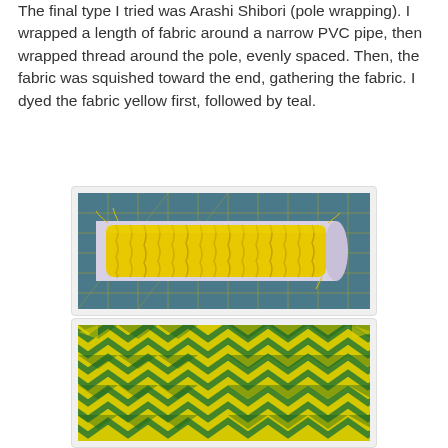The final type I tried was Arashi Shibori (pole wrapping). I wrapped a length of fabric around a narrow PVC pipe, then wrapped thread around the pole, evenly spaced. Then, the fabric was squished toward the end, gathering the fabric. I dyed the fabric yellow first, followed by teal.
[Figure (photo): Yellow fabric tightly wrapped and gathered around a white PVC pipe, placed on a blue/green cutting mat with yellow grid lines. The fabric is bunched and wrinkled around the pole in the Arashi Shibori pole-wrapping technique.]
[Figure (photo): Finished dyed fabric showing a green and yellow zigzag/chevron pattern resulting from the Arashi Shibori pole-wrapping technique with yellow and teal dye.]